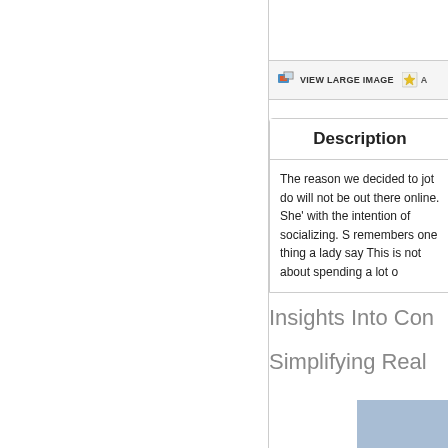[Figure (screenshot): Toolbar area with VIEW LARGE IMAGE button and a star/bookmark icon button, on a light gray background]
Description
The reason we decided to jot do will not be out there online. She' with the intention of socializing. S remembers one thing a lady say This is not about spending a lot o
Insights Into Con
Simplifying Real
[Figure (other): Blue/steel colored rectangle box at bottom right]